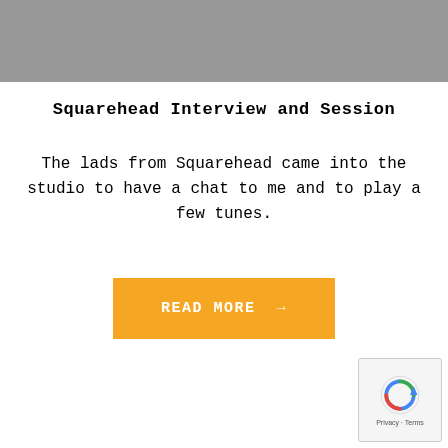[Figure (other): Gray banner image at top of page]
Squarehead Interview and Session
The lads from Squarehead came into the studio to have a chat to me and to play a few tunes.
READ MORE →
[Figure (other): reCAPTCHA widget with Privacy and Terms text]